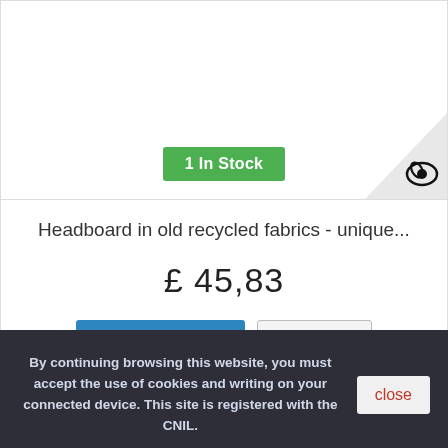[Figure (other): Product image area with green stock badge reading '1 In Stock' and a corner graphic element]
Headboard in old recycled fabrics - unique...
£ 45,83
Add to cart
More
By continuing browsing this website, you must accept the use of cookies and writing on your connected device. This site is registered with the CNIL.
close